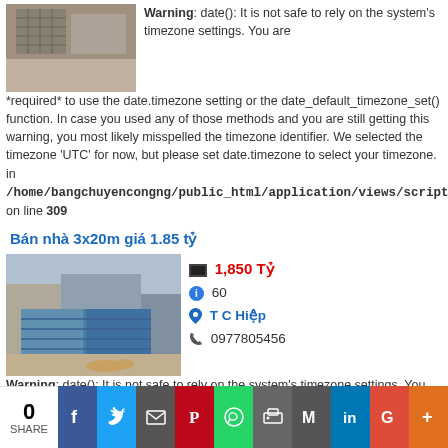[Figure (photo): Small photo of a house exterior with metal gate]
Warning: date(): It is not safe to rely on the system's timezone settings. You are *required* to use the date.timezone setting or the date_default_timezone_set() function. In case you used any of those methods and you are still getting this warning, you most likely misspelled the timezone identifier. We selected the timezone 'UTC' for now, but please set date.timezone to select your timezone. in /home/bangchuyencongng/public_html/application/views/scripts/index/load on line 309
Bán nhà 3x20m giá 1.85 tỷ
[Figure (photo): Photo of a house with blue metal gate]
1,850 Tỷ
60
T C Hiệp
0977805456
Warning: date(): It is not safe to rely on the system's timezone settings. You are *required* to use the date.timezone setting or the date_default_timezone_set() function. In case you used any of those methods and you are still getting this warning, you most likely misspelled
0 SHARE | Facebook | Twitter | Email | Pinterest | WhatsApp | Print | Gmail | LinkedIn | Google+ | More